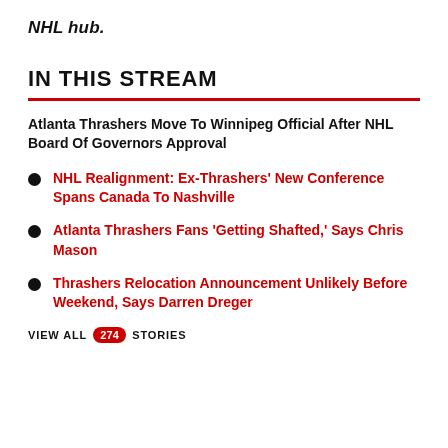NHL hub.
IN THIS STREAM
Atlanta Thrashers Move To Winnipeg Official After NHL Board Of Governors Approval
NHL Realignment: Ex-Thrashers' New Conference Spans Canada To Nashville
Atlanta Thrashers Fans 'Getting Shafted,' Says Chris Mason
Thrashers Relocation Announcement Unlikely Before Weekend, Says Darren Dreger
VIEW ALL 274 STORIES